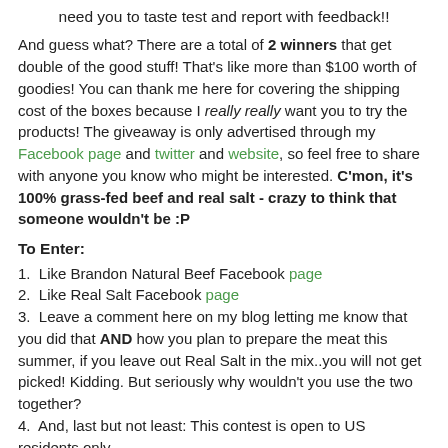need you to taste test and report with feedback!!
And guess what? There are a total of 2 winners that get double of the good stuff! That's like more than $100 worth of goodies! You can thank me here for covering the shipping cost of the boxes because I really really want you to try the products! The giveaway is only advertised through my Facebook page and twitter and website, so feel free to share with anyone you know who might be interested. C'mon, it's 100% grass-fed beef and real salt - crazy to think that someone wouldn't be :P
To Enter:
1.  Like Brandon Natural Beef Facebook page
2.  Like Real Salt Facebook page
3.  Leave a comment here on my blog letting me know that you did that AND how you plan to prepare the meat this summer, if you leave out Real Salt in the mix..you will not get picked! Kidding. But seriously why wouldn't you use the two together?
4.  And, last but not least: This contest is open to US residents only.